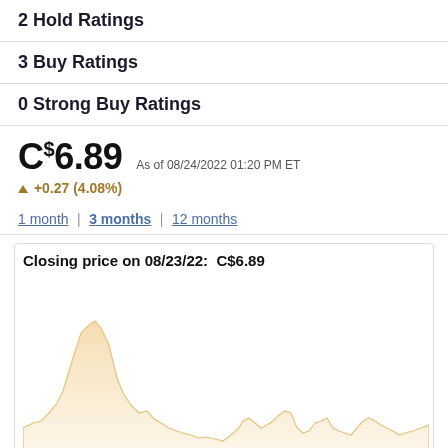2 Hold Ratings
3 Buy Ratings
0 Strong Buy Ratings
C$6.89  As of 08/24/2022 01:20 PM ET  +0.27 (4.08%)
1 month | 3 months | 12 months
[Figure (area-chart): Area chart showing stock price over time with a peak in the left portion and smaller peaks in the right portion. The area is filled with a light peach/cream color.]